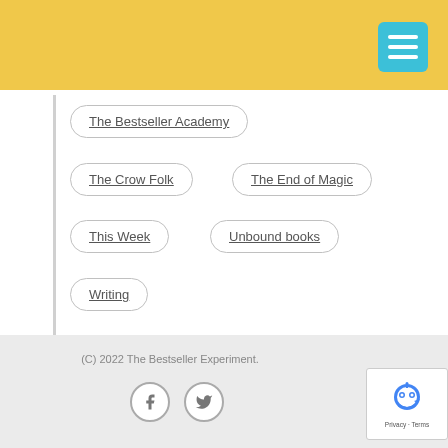The Bestseller Academy
The Crow Folk
The End of Magic
This Week
Unbound books
Writing
(C) 2022 The Bestseller Experiment.
[Figure (logo): Facebook and Twitter social icons in circular borders]
[Figure (other): Google reCAPTCHA badge with robot icon and Privacy · Terms links]